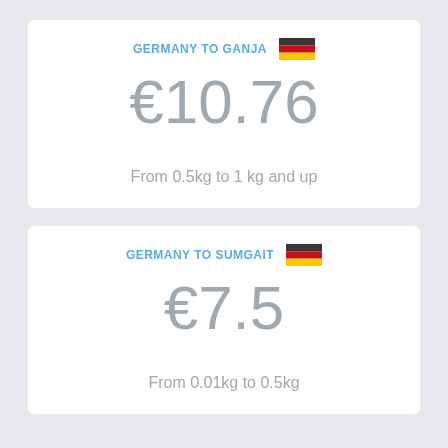GERMANY TO GANJA
€10.76
From 0.5kg to 1 kg and up
GERMANY TO SUMGAIT
€7.5
From 0.01kg to 0.5kg